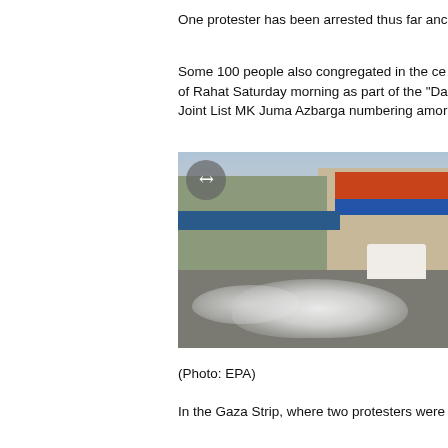One protester has been arrested thus far anc
Some 100 people also congregated in the ce of Rahat Saturday morning as part of the "Da Joint List MK Juma Azbarga numbering amor
[Figure (photo): Street scene showing smoke or tear gas on the road in front of closed shops with Arabic signage. A white van is visible on the right. An expand/fullscreen button is visible in the upper left corner of the image.]
(Photo: EPA)
In the Gaza Strip, where two protesters were